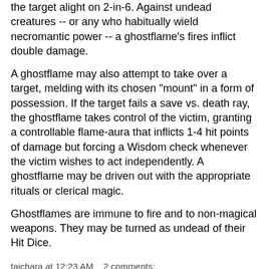the target alight on 2-in-6. Against undead creatures -- or any who habitually wield necromantic power -- a ghostflame's fires inflict double damage.
A ghostflame may also attempt to take over a target, melding with its chosen "mount" in a form of possession. If the target fails a save vs. death ray, the ghostflame takes control of the victim, granting a controllable flame-aura that inflicts 1-4 hit points of damage but forcing a Wisdom check whenever the victim wishes to act independently. A ghostflame may be driven out with the appropriate rituals or clerical magic.
Ghostflames are immune to fire and to non-magical weapons. They may be turned as undead of their Hit Dice.
taichara at 12:23 AM    2 comments:
Wednesday, July 29, 2009
Monster: Ankeri
Ankeri